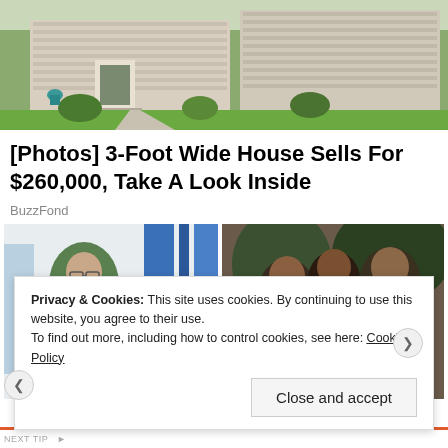[Figure (photo): Exterior photo of a house with green lawn, walkway, and trees]
[Photos] 3-Foot Wide House Sells For $260,000, Take A Look Inside
BuzzFond
[Figure (photo): A woman in hijab and lab coat holding a sample near a microscope in a laboratory setting]
[Figure (photo): Three people posing together — two women and a man smiling at the camera]
Privacy & Cookies: This site uses cookies. By continuing to use this website, you agree to their use.
To find out more, including how to control cookies, see here: Cookie Policy
Close and accept